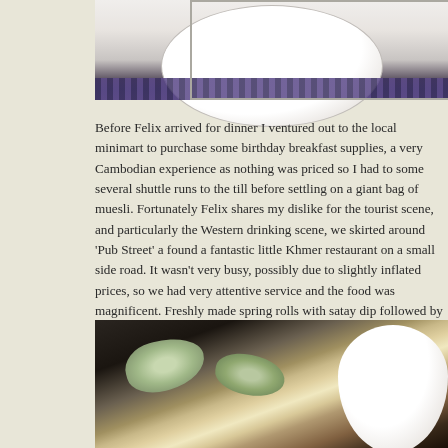[Figure (photo): Top portion of a white plate on a blue patterned tablecloth, cropped view showing just the rim and center of the plate]
Before Felix arrived for dinner I ventured out to the local minimart to purchase some birthday breakfast supplies, a very Cambodian experience as nothing was priced so I had to some several shuttle runs to the till before settling on a giant bag of muesli. Fortunately Felix shares my dislike for the tourist scene, and particularly the Western drinking scene, we skirted around 'Pub Street' a found a fantastic little Khmer restaurant on a small side road. It wasn't very busy, possibly due to slightly inflated prices, so we had very attentive service and the food was magnificent. Freshly made spring rolls with satay dip followed by vegetable roti curry and banana fritters, delicious - we sent our compliments to the chef who waved his thanks through the window, and our small tip was warmly received by the whole staff.
[Figure (photo): Close-up photo of fresh spring rolls with green leafy vegetables, served with dipping sauce in white dishes on a dark surface]